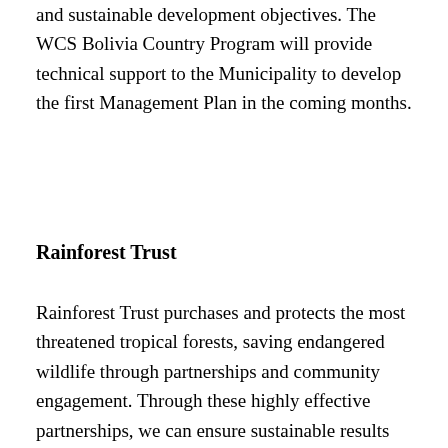and sustainable development objectives. The WCS Bolivia Country Program will provide technical support to the Municipality to develop the first Management Plan in the coming months.
Rainforest Trust
Rainforest Trust purchases and protects the most threatened tropical forests, saving endangered wildlife through partnerships and community engagement. Through these highly effective partnerships, we can ensure sustainable results necessary for the long-term protection of tropical ecosystems and the wildlife they hold. For more